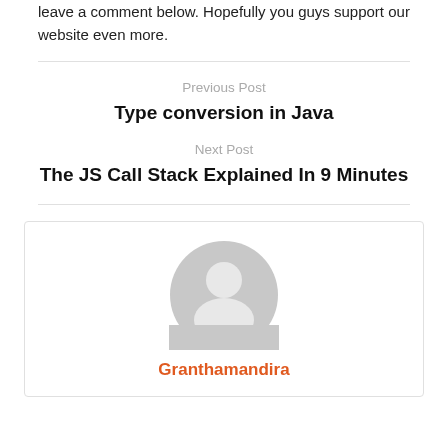leave a comment below. Hopefully you guys support our website even more.
Previous Post
Type conversion in Java
Next Post
The JS Call Stack Explained In 9 Minutes
[Figure (illustration): Generic user avatar icon — a grey circle with a person silhouette]
Granthamandira